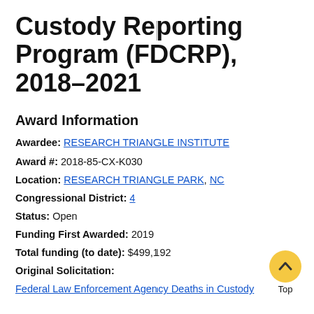Custody Reporting Program (FDCRP), 2018–2021
Award Information
Awardee: RESEARCH TRIANGLE INSTITUTE
Award #: 2018-85-CX-K030
Location: RESEARCH TRIANGLE PARK, NC
Congressional District: 4
Status: Open
Funding First Awarded: 2019
Total funding (to date): $499,192
Original Solicitation:
Federal Law Enforcement Agency Deaths in Custody